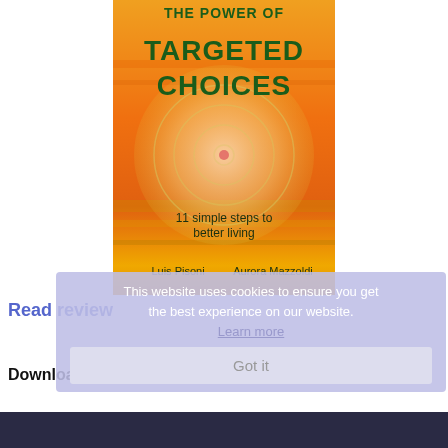[Figure (illustration): Book cover for 'The Power of Targeted Choices: 11 simple steps to better living' by Luis Pisoni and Aurora Mazzoldi. Orange/yellow sunset background with a translucent globe/target circle in the center. Title in dark green bold text.]
Read review
This website uses cookies to ensure you get the best experience on our website.
Learn more
Download the free part now!
Got it